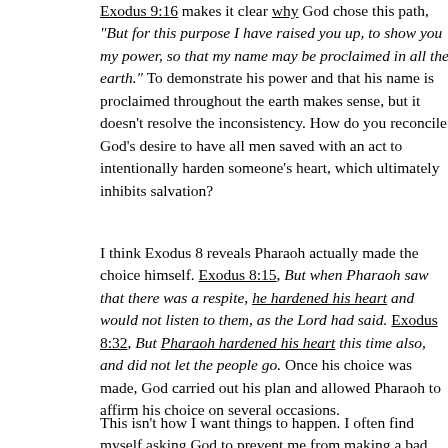Exodus 9:16 makes it clear why God chose this path, "But for this purpose I have raised you up, to show you my power, so that my name may be proclaimed in all the earth." To demonstrate his power and that his name is proclaimed throughout the earth makes sense, but it doesn't resolve the inconsistency. How do you reconcile God's desire to have all men saved with an act to intentionally harden someone's heart, which ultimately inhibits salvation?
I think Exodus 8 reveals Pharaoh actually made the choice himself. Exodus 8:15, But when Pharaoh saw that there was a respite, he hardened his heart and would not listen to them, as the Lord had said. Exodus 8:32, But Pharaoh hardened his heart this time also, and did not let the people go. Once his choice was made, God carried out his plan and allowed Pharaoh to affirm his choice on several occasions.
This isn't how I want things to happen. I often find myself asking God to prevent me from making a bad choice, then saving